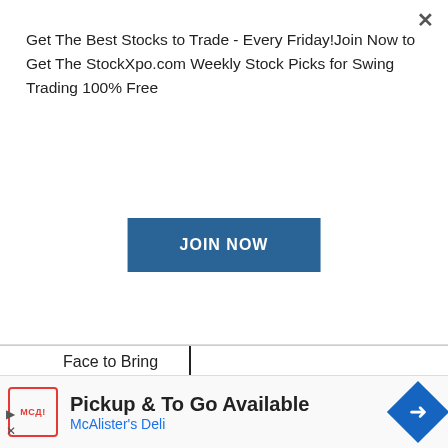Get The Best Stocks to Trade - Every Friday!Join Now to Get The StockXpo.com Weekly Stock Picks for Swing Trading 100% Free
JOIN NOW
| Face to Bring Home Record Number of Overseas |
Pickup & To Go Available
McAlister's Deli